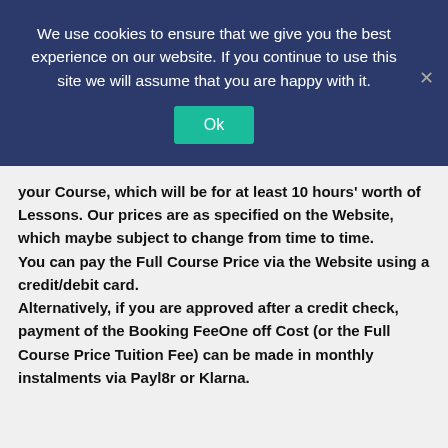We use cookies to ensure that we give you the best experience on our website. If you continue to use this site we will assume that you are happy with it.
your Course, which will be for at least 10 hours' worth of Lessons. Our prices are as specified on the Website, which maybe subject to change from time to time.
You can pay the Full Course Price via the Website using a credit/debit card.
Alternatively, if you are approved after a credit check, payment of the Booking FeeOne off Cost (or the Full Course Price Tuition Fee) can be made in monthly instalments via Payl8r or Klarna.